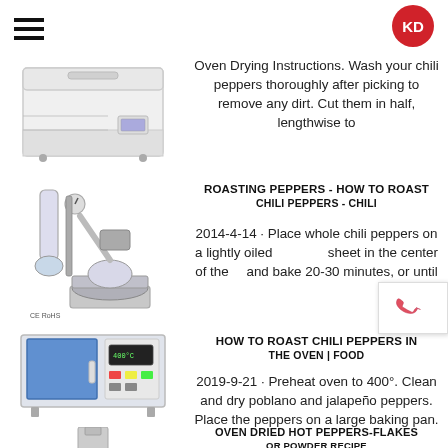KD logo and hamburger menu
[Figure (photo): White chest freezer appliance]
[Figure (photo): Laboratory rotary evaporator equipment with CE and RoHS markings]
[Figure (photo): Blue industrial box furnace with control panel]
[Figure (photo): Laboratory equipment, partially visible]
Oven Drying Instructions. Wash your chili peppers thoroughly after picking to remove any dirt. Cut them in half, lengthwise to
ROASTING PEPPERS - HOW TO ROAST CHILI PEPPERS - CHILI
2014-4-14 · Place whole chili peppers on a lightly oiled sheet in the center of the and bake 20-30 minutes, or until
HOW TO ROAST CHILI PEPPERS IN THE OVEN | FOOD
2019-9-21 · Preheat oven to 400°. Clean and dry poblano and jalapeño peppers. Place the peppers on a large baking pan.
OVEN DRIED HOT PEPPERS-FLAKES OR POWDER RECIPE